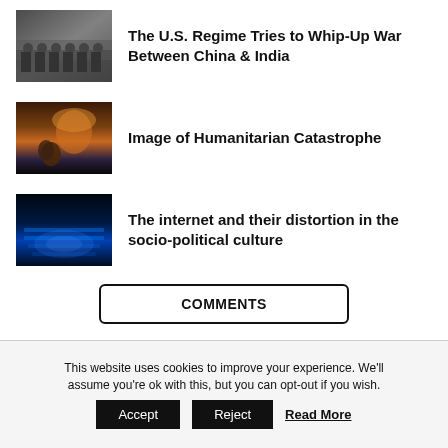[Figure (photo): Rows of soldiers in military formation, grey tones]
The U.S. Regime Tries to Whip-Up War Between China & India
[Figure (photo): Dark painting-like image of a crouching figure with mushroom cloud explosion in background]
Image of Humanitarian Catastrophe
[Figure (photo): Blue-lit keyboard in dark setting, technology theme]
The internet and their distortion in the socio-political culture
COMMENTS
This website uses cookies to improve your experience. We'll assume you're ok with this, but you can opt-out if you wish.
Accept
Reject
Read More